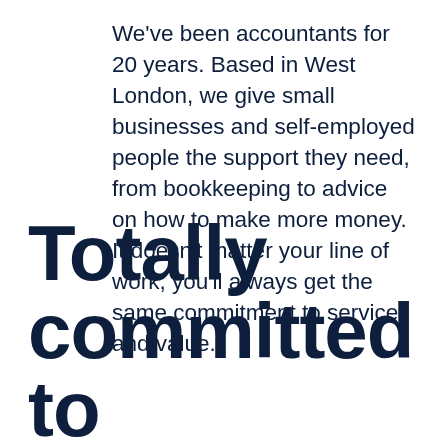We've been accountants for 20 years. Based in West London, we give small businesses and self-employed people the support they need, from bookkeeping to advice on how to make more money. It doesn't matter your line of work, you'll always get the same commitment to service and value.
Totally committed to